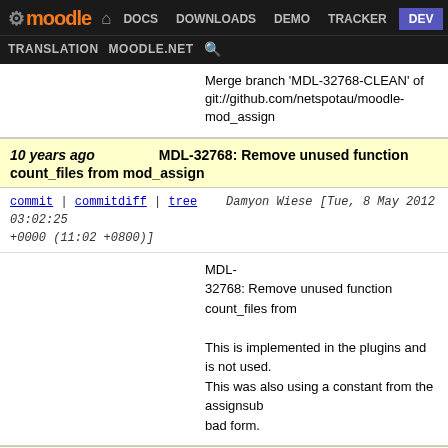moodle DOCS DOWNLOADS DEMO TRACKER DEV TRANSLATION MOODLE.NET
Merge branch 'MDL-32768-CLEAN' of git://github.com/netspotau/moodle-mod_assign
10 years ago  MDL-32768: Remove unused function count_files from mod_assign
commit | commitdiff | tree   Damyon Wiese [Tue, 8 May 2012 03:02:25 +0000 (11:02 +0800)]
MDL-32768: Remove unused function count_files from

This is implemented in the plugins and is not used. This was also using a constant from the assignsub bad form.
10 years ago  Merge branch 'MDL-32681-master-2' of git://git.luns.net.uk/moodle
commit | commitdiff | tree   Sam Hemelryk [Mon, 7 May 2012 23:14:12 +0000 (11:14 +1200)]
Merge branch 'MDL-32681-master-